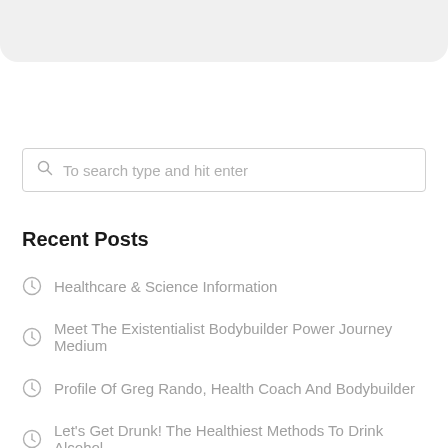[Figure (other): Gray top navigation bar area]
To search type and hit enter
Recent Posts
Healthcare & Science Information
Meet The Existentialist Bodybuilder Power Journey Medium
Profile Of Greg Rando, Health Coach And Bodybuilder
Let's Get Drunk! The Healthiest Methods To Drink Alcohol
Animal Well being Centre